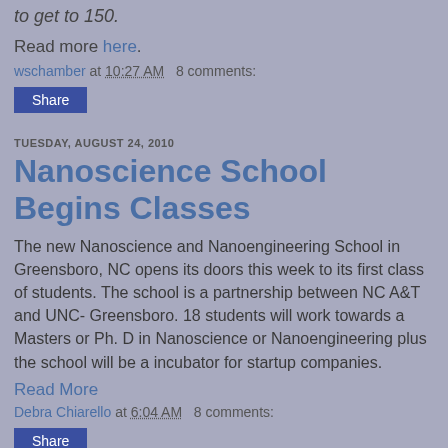to get to 150.
Read more here.
wschamber at 10:27 AM   8 comments:
Share
TUESDAY, AUGUST 24, 2010
Nanoscience School Begins Classes
The new Nanoscience and Nanoengineering School in Greensboro, NC opens its doors this week to its first class of students. The school is a partnership between NC A&T and UNC- Greensboro. 18 students will work towards a Masters or Ph. D in Nanoscience or Nanoengineering plus the school will be a incubator for startup companies.
Read More
Debra Chiarello at 6:04 AM   8 comments:
Share